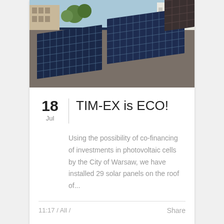[Figure (photo): Solar panels installed on a rooftop, with apartment buildings and trees visible in the background. Multiple blue photovoltaic panel arrays are shown on a flat roof.]
TIM-EX is ECO!
Using the possibility of co-financing of investments in photovoltaic cells by the City of Warsaw, we have installed 29 solar panels on the roof of...
11:17 / All /
Share